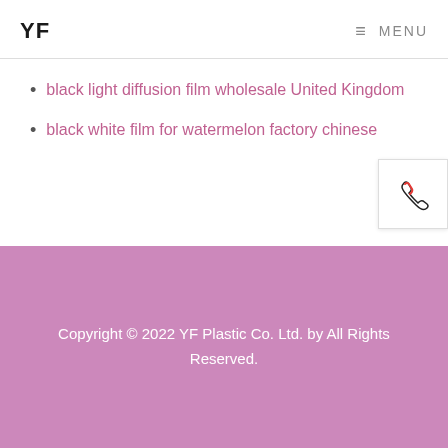YF  ☰ MENU
black light diffusion film wholesale United Kingdom
black white film for watermelon factory chinese
[Figure (illustration): Phone/call icon with red and dark outlines on white button]
Copyright © 2022 YF Plastic Co. Ltd. by All Rights Reserved.